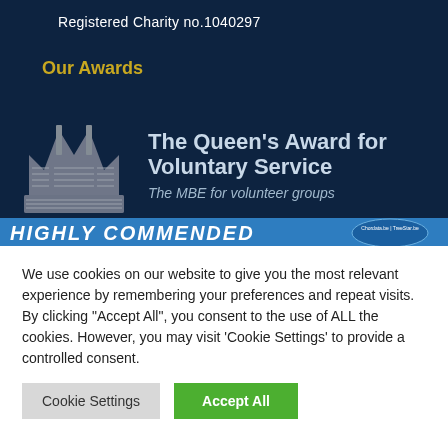Registered Charity no.1040297
Our Awards
[Figure (logo): The Queen's Award for Voluntary Service logo with crown made of text and the tagline: The MBE for volunteer groups]
[Figure (other): Blue banner with HIGHLY COMMENDED text and circular badge]
We use cookies on our website to give you the most relevant experience by remembering your preferences and repeat visits. By clicking "Accept All", you consent to the use of ALL the cookies. However, you may visit 'Cookie Settings' to provide a controlled consent.
Cookie Settings | Accept All